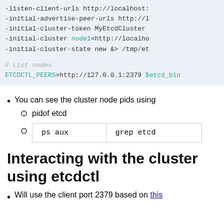-listen-client-urls http://localhost:
-initial-advertise-peer-urls http://l
-initial-cluster-token MyEtcdCluster
-initial-cluster node1=http://localho
-initial-cluster-state new &> /tmp/et

# List nodes
ETCDCTL_PEERS=http://127.0.0.1:2379 $etcd_bin
You can see the cluster node pids using
pidof etcd
| ps aux | grep etcd |
Interacting with the cluster using etcdctl
Will use the client port 2379 based on this